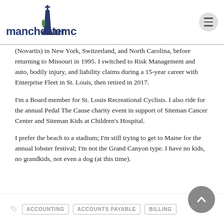manchester umc
(Novartis) in New York, Switzerland, and North Carolina, before returning to Missouri in 1995. I switched to Risk Management and auto, bodily injury, and liability claims during a 15-year career with Enterprise Fleet in St. Louis, then retired in 2017.
I'm a Board member for St. Louis Recreational Cyclists. I also ride for the annual Pedal The Cause charity event in support of Siteman Cancer Center and Siteman Kids at Children's Hospital.
I prefer the beach to a stadium; I'm still trying to get to Maine for the annual lobster festival; I'm not the Grand Canyon type. I have no kids, no grandkids, not even a dog (at this time).
ACCOUNTING   ACCOUNTS PAYABLE   BILLING